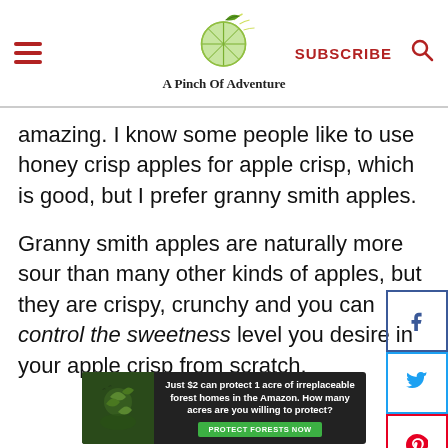A Pinch Of Adventure — SUBSCRIBE
amazing. I know some people like to use honey crisp apples for apple crisp, which is good, but I prefer granny smith apples.
Granny smith apples are naturally more sour than many other kinds of apples, but they are crispy, crunchy and you can control the sweetness level you desire in your apple crisp from scratch.
[Figure (infographic): Advertisement banner: Just $2 can protect 1 acre of irreplaceable forest homes in the Amazon. How many acres are you willing to protect? PROTECT FORESTS NOW]